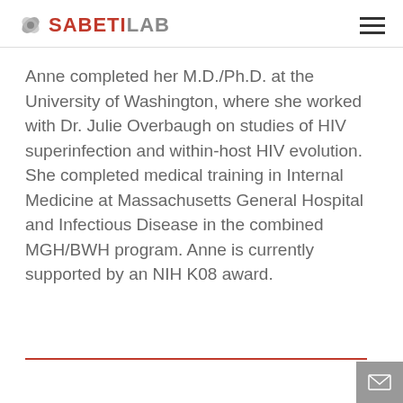SABETILAB
Anne completed her M.D./Ph.D. at the University of Washington, where she worked with Dr. Julie Overbaugh on studies of HIV superinfection and within-host HIV evolution. She completed medical training in Internal Medicine at Massachusetts General Hospital and Infectious Disease in the combined MGH/BWH program. Anne is currently supported by an NIH K08 award.